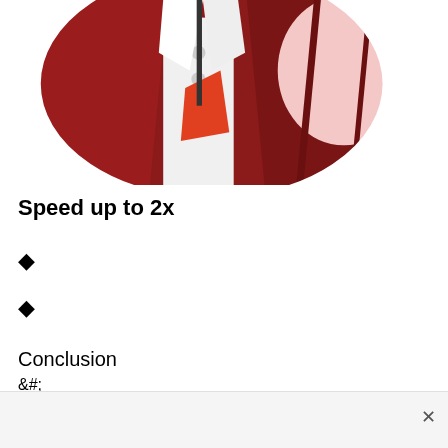[Figure (illustration): Cropped circular manga/anime illustration showing a character in a dark red outfit with white accents. Only the torso/chest area is visible. The image is clipped in a circular shape at the top of the page.]
Speed up to 2x
◆
◆
Conclusion
&#;